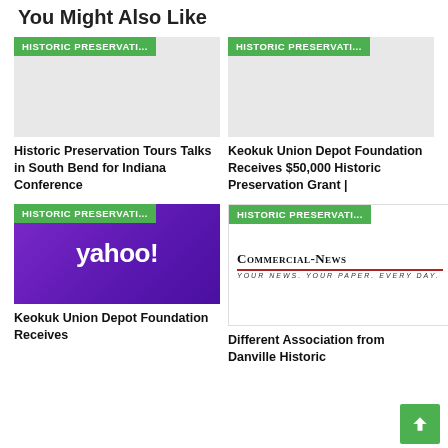You Might Also Like
[Figure (screenshot): Gray placeholder image with green 'HISTORIC PRESERVATI...' tag badge in top left]
Historic Preservation Tours Talks in South Bend for Indiana Conference
[Figure (screenshot): Gray placeholder image with green 'HISTORIC PRESERVATI...' tag badge in top left]
Keokuk Union Depot Foundation Receives $50,000 Historic Preservation Grant |
[Figure (logo): Yahoo logo on purple gradient background with green 'HISTORIC PRESERVATI...' tag]
Keokuk Union Depot Foundation Receives
[Figure (logo): Commercial-News newspaper logo with tagline 'Your News. Your Paper. Every Day.' and green 'HISTORIC PRESERVATI...' tag]
Different Association from Danville Historic